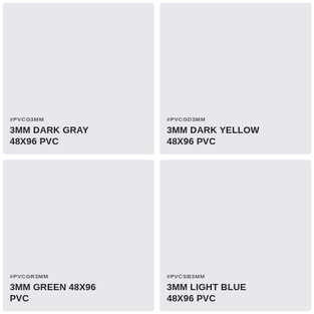[Figure (photo): Product swatch card for 3MM Dark Gray 48x96 PVC, light gray/purple-gray colored panel with SKU #PVCG3MM]
[Figure (photo): Product swatch card for 3MM Dark Yellow 48x96 PVC, light gray/purple-gray colored panel with SKU #PVCGD3MM]
[Figure (photo): Product swatch card for 3MM Green 48x96 PVC, light gray colored panel with SKU #PVCGR3MM]
[Figure (photo): Product swatch card for 3MM Light Blue 48x96 PVC, light gray colored panel with SKU #PVCSB3MM]